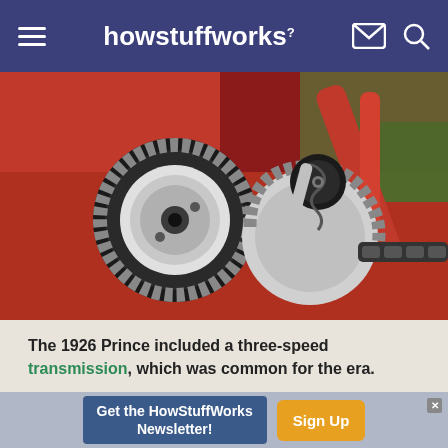howstuffworks
[Figure (photo): Close-up photo of mechanical gears from a 1926 Prince motorcycle, showing toothed sprockets and a chain, mounted on a red frame with green background elements.]
The 1926 Prince included a three-speed transmission, which was common for the era.
For more great motorcycle articles and
Get the HowStuffWorks Newsletter! Sign Up